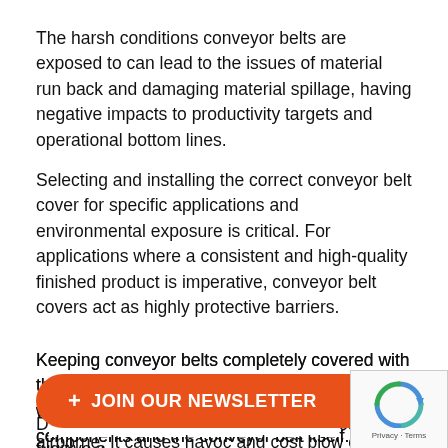The harsh conditions conveyor belts are exposed to can lead to the issues of material run back and damaging material spillage, having negative impacts to productivity targets and operational bottom lines.
Selecting and installing the correct conveyor belt cover for specific applications and environmental exposure is critical. For applications where a consistent and high-quality finished product is imperative, conveyor belt covers act as highly protective barriers.
Keeping conveyor belts completely covered with the use of conveyor covers also result in less wear on critical high-performance conveyor components and the conveyor belt itself. Due to the overall reduced weight of installed conveyor components, protection provided from the conveyor belt covers can yield longer service life for c[…]or belt.
D[…]comes fugitive a[…] airborne. It causes havoc and cost blow outs within every